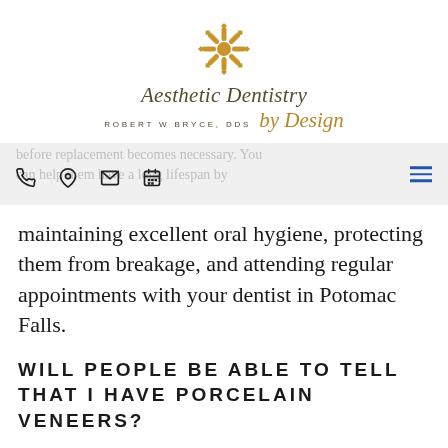[Figure (logo): Aesthetic Dentistry by Design logo with ornate gold emblem and calligraphic text, Robert W Bryce DDS]
before replacement becomes necessary. You can help them have a long lifespan by
maintaining excellent oral hygiene, protecting them from breakage, and attending regular appointments with your dentist in Potomac Falls.
WILL PEOPLE BE ABLE TO TELL THAT I HAVE PORCELAIN VENEERS?